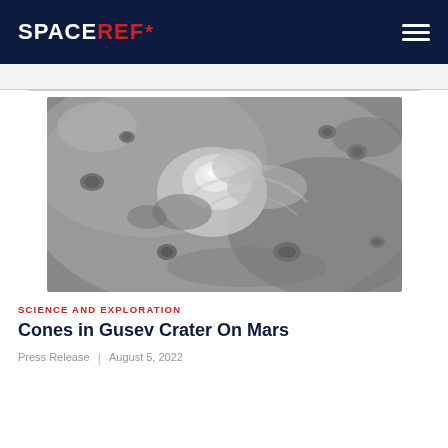SPACEREF*
[Figure (photo): Black and white aerial/orbital photograph of Gusev Crater on Mars showing conical geological formations and impact craters on the Martian surface]
SCIENCE AND EXPLORATION
Cones in Gusev Crater On Mars
Press Release | August 5, 2022